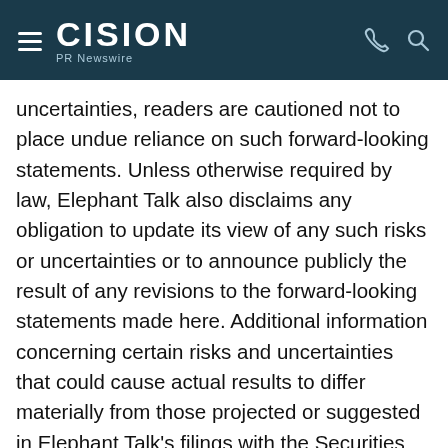CISION PR Newswire
uncertainties, readers are cautioned not to place undue reliance on such forward-looking statements. Unless otherwise required by law, Elephant Talk also disclaims any obligation to update its view of any such risks or uncertainties or to announce publicly the result of any revisions to the forward-looking statements made here. Additional information concerning certain risks and uncertainties that could cause actual results to differ materially from those projected or suggested in Elephant Talk's filings with the Securities and Exchange Commission (the "SEC"), copies of which are available from the SEC or may be obtained upon request from Elephant Talk.